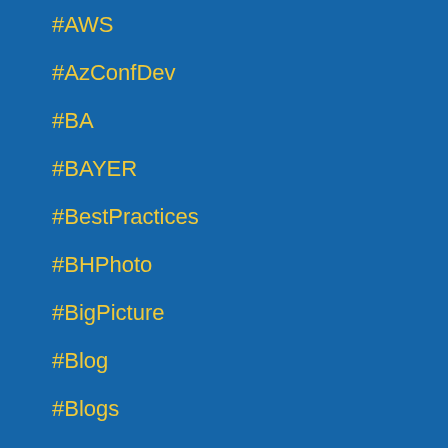#AWS
#AzConfDev
#BA
#BAYER
#BestPractices
#BHPhoto
#BigPicture
#Blog
#Blogs
#Bash